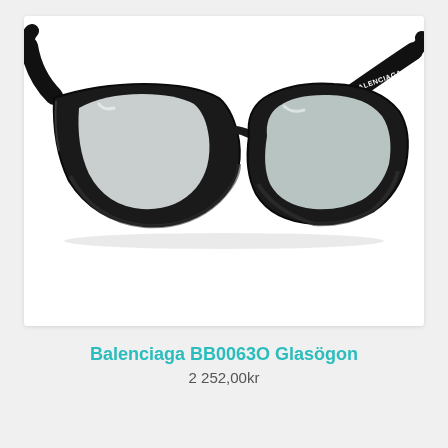[Figure (photo): Close-up photo of black Balenciaga BB0063O eyeglasses frames with clear lenses on a white background. The frames are thick and angular with a cat-eye shape. The word BALENCIAGA is printed in white on the temple arm.]
Balenciaga BB0063O Glasögon
2 252,00kr